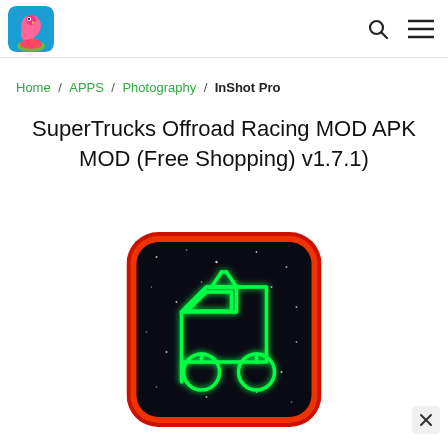Logo and navigation icons (search, menu)
Home / APPS / Photography / InShot Pro
SuperTrucks Offroad Racing MOD APK MOD (Free Shopping) v1.7.1)
[Figure (illustration): App icon for SuperTrucks Offroad Racing — rounded square with dark starry background and glowing green truck/vehicle line art, framed with red/orange border]